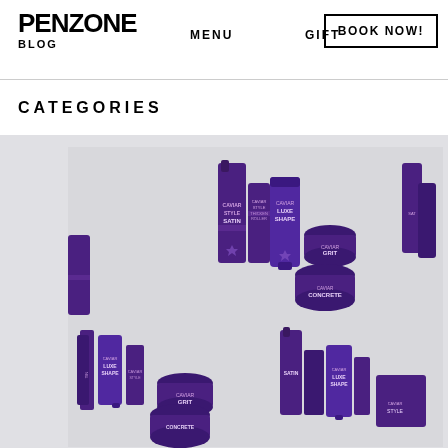PENZONE BLOG | MENU | GIFT | BOOK NOW!
CATEGORIES
[Figure (photo): Multiple purple Alterna Caviar hair product bottles and containers (SATIN, LUXE SHAPE, GRIT, CONCRETE) arranged on a light gray background, shown in a collage/grid pattern with repeated groupings]